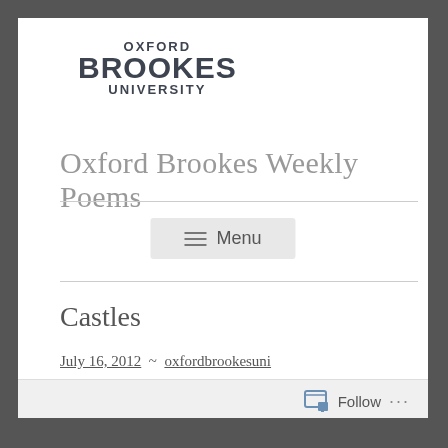[Figure (logo): Oxford Brookes University logo — text-based logo with OXFORD above BROOKES in large bold letters, UNIVERSITY below]
Oxford Brookes Weekly Poems
Menu
Castles
July 16, 2012  ~  oxfordbrookesuni
Follow ...